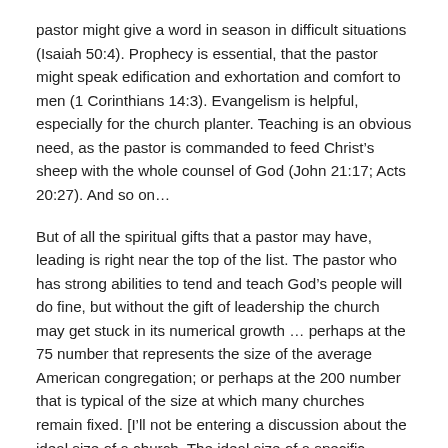pastor might give a word in season in difficult situations (Isaiah 50:4). Prophecy is essential, that the pastor might speak edification and exhortation and comfort to men (1 Corinthians 14:3). Evangelism is helpful, especially for the church planter. Teaching is an obvious need, as the pastor is commanded to feed Christ's sheep with the whole counsel of God (John 21:17; Acts 20:27). And so on…
But of all the spiritual gifts that a pastor may have, leading is right near the top of the list. The pastor who has strong abilities to tend and teach God's people will do fine, but without the gift of leadership the church may get stuck in its numerical growth … perhaps at the 75 number that represents the size of the average American congregation; or perhaps at the 200 number that is typical of the size at which many churches remain fixed. [I'll not be entering a discussion about the ideal size of a church. The ideal size of a specific church is determined